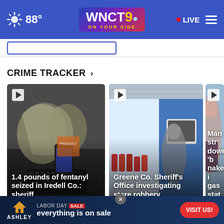WNCT9 ON YOUR SIDE — 88° — LIVE
CRIME TRACKER ›
[Figure (photo): News card 1: Bags of fentanyl and a cell phone on a table — 1.4 pounds of fentanyl seized in Iredell Co.: sheriff]
[Figure (photo): News card 2: Store interior/security footage — Greene Co. Sheriff's Office investigating store robbery]
[Figure (photo): News card 3 (partial): Person at gas station — Man strips down naked at gas station]
Crim
Crime Tracker
[Figure (screenshot): Ashley Furniture Labor Day Sale advertisement banner — 'LABOR DAY SALE everything is on sale' with VISIT US! button]